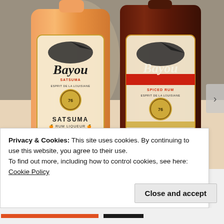[Figure (photo): Two bottles of Bayou rum side by side. Left bottle is orange/amber colored (Satsuma Rum Liqueur). Right bottle is dark brown (Spiced Rum). Both bottles feature a label with an alligator graphic and 'Bayou' in cursive script.]
Privacy & Cookies: This site uses cookies. By continuing to use this website, you agree to their use.
To find out more, including how to control cookies, see here: Cookie Policy
Close and accept